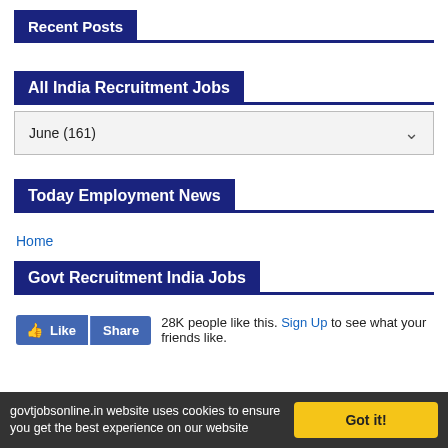Recent Posts
All India Recruitment Jobs
June (161)
Today Employment News
Home
Govt Recruitment India Jobs
28K people like this. Sign Up to see what your friends like.
govtjobsonline.in website uses cookies to ensure you get the best experience on our website